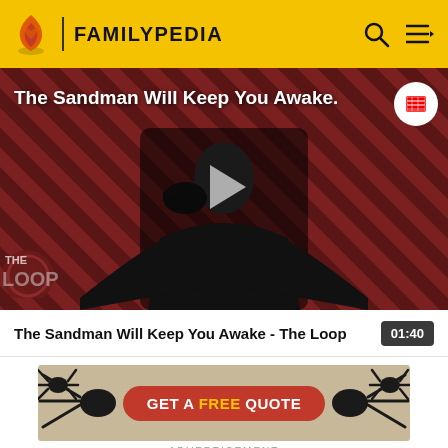FAMILYPEDIA
[Figure (screenshot): Video thumbnail for 'The Sandman Will Keep You Awake - The Loop' showing a dark figure in black with a raven, against a red and black diagonal striped background with 'THE LOOP' logo overlay and a play button in the center.]
The Sandman Will Keep You Awake - The Loop  01:40
[Figure (photo): Advertisement banner showing spider-like furniture legs on a wooden floor with a red oval button reading 'GET A FREE QUOTE']
ADVERTISEMENT